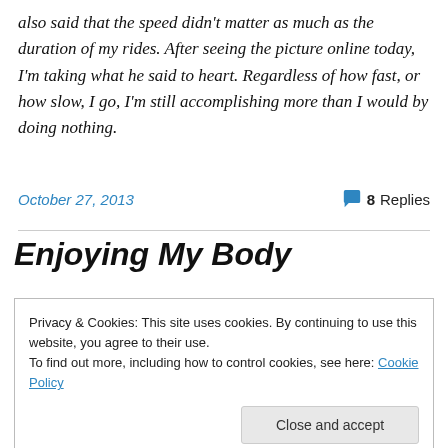also said that the speed didn't matter as much as the duration of my rides. After seeing the picture online today, I'm taking what he said to heart. Regardless of how fast, or how slow, I go, I'm still accomplishing more than I would by doing nothing.
October 27, 2013   8 Replies
Enjoying My Body
Privacy & Cookies: This site uses cookies. By continuing to use this website, you agree to their use. To find out more, including how to control cookies, see here: Cookie Policy  Close and accept
...duration of time also enjoying while the picture to ...